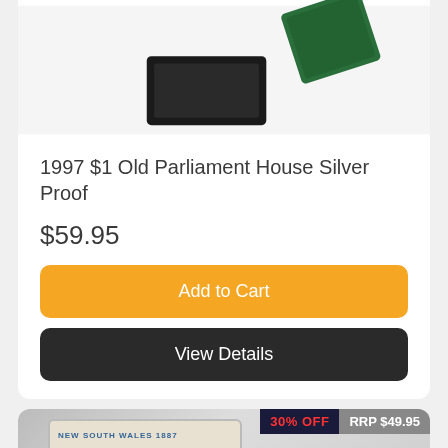[Figure (photo): Coin in green and black box - top of product card image, partially cropped]
1997 $1 Old Parliament House Silver Proof
$59.95
Add to Cart
View Details
[Figure (photo): Coin in blue velvet box showing NEW SOUTH WALES 1887 and ROYAL AUSTRALIAN MINT text, with badges 30% OFF and RRP $49.95]